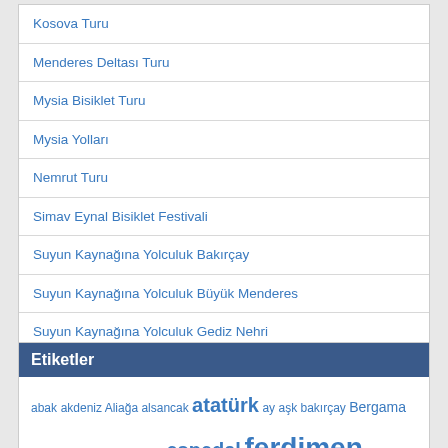Kosova Turu
Menderes Deltası Turu
Mysia Bisiklet Turu
Mysia Yolları
Nemrut Turu
Simav Eynal Bisiklet Festivali
Suyun Kaynağına Yolculuk Bakırçay
Suyun Kaynağına Yolculuk Büyük Menderes
Suyun Kaynağına Yolculuk Gediz Nehri
Suyun Kaynağına Yolculuk Küçük Menderes
UrimBaba'nın Kahvesi.
Etiketler
abak akdeniz Aliağa alsancak atatürk ay aşk bakırçay Bergama bisiklet bizans efes elçek eşpedal ferdimen feyyaz alaçam gediz kahve kuz